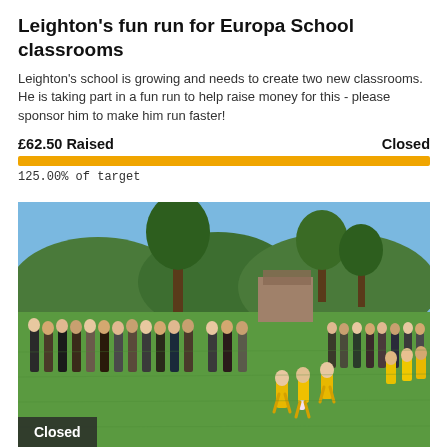Leighton's fun run for Europa School classrooms
Leighton's school is growing and needs to create two new classrooms. He is taking part in a fun run to help raise money for this - please sponsor him to make him run faster!
£62.50 Raised    Closed
125.00% of target
[Figure (photo): Outdoor fun run event on a sunny day on a grass field. Children in yellow t-shirts are running while a crowd of adults watch from the left side. Trees and buildings visible in the background under a blue sky.]
Closed